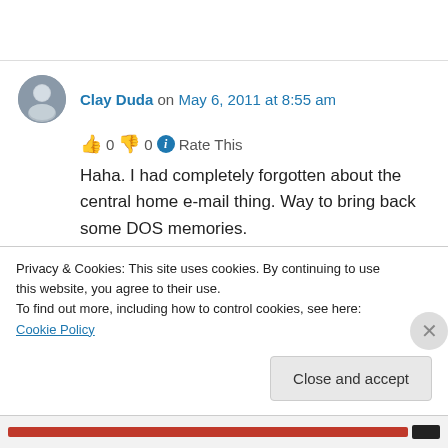Clay Duda on May 6, 2011 at 8:55 am
👍 0 👎 0 ℹ Rate This
Haha. I had completely forgotten about the central home e-mail thing. Way to bring back some DOS memories.
★ Like
↵ Reply
Privacy & Cookies: This site uses cookies. By continuing to use this website, you agree to their use.
To find out more, including how to control cookies, see here: Cookie Policy
Close and accept